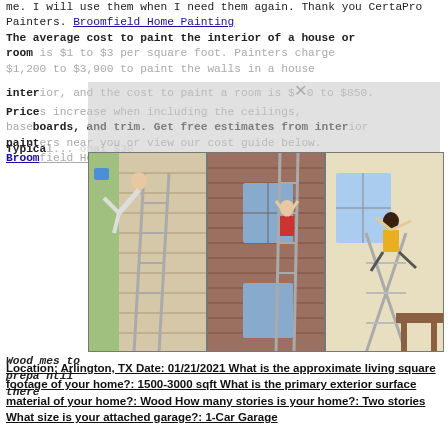me. I will use them when I need them again. Thank you CertaPro Painters. Broomfield Home Painting
The average cost to paint the interior of a house or room is $1 to $3 per square foot. Painters charge $1,200 to $3,900 to paint the walls in a house interior, and the cost to paint a room is $350 to $850. Prices increase when including the ceilings, baseboards, and trim. Get free estimates from interior painters near you or view our cost guide below. Broomfield House Painting
Typically ... professional $30...
[Figure (photo): Three photos side by side showing people on ladders painting house exteriors, with acrobatic/falling poses]
Wood ... comes to prepare ... until there ... wood ... ed, and a ... er. Brush ... er 100 sq...
Location: Arlington, TX Date: 01/21/2021 What is the approximate living square footage of your home?: 1500-3000 sqft What is the primary exterior surface material of your home?: Wood How many stories is your home?: Two stories What size is your attached garage?: 1-Car Garage